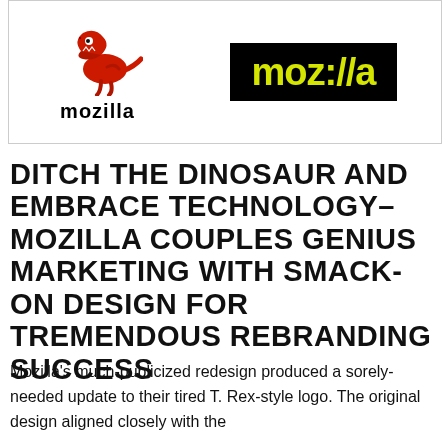[Figure (logo): Two Mozilla logos side by side: left is the old logo with a red T-Rex dinosaur above the text 'mozilla' in black; right is the new logo with 'moz://a' in yellow on a black background, inside a bordered frame.]
DITCH THE DINOSAUR AND EMBRACE TECHNOLOGY–MOZILLA COUPLES GENIUS MARKETING WITH SMACK-ON DESIGN FOR TREMENDOUS REBRANDING SUCCESS
Mozilla's much-publicized redesign produced a sorely-needed update to their tired T. Rex-style logo. The original design aligned closely with the